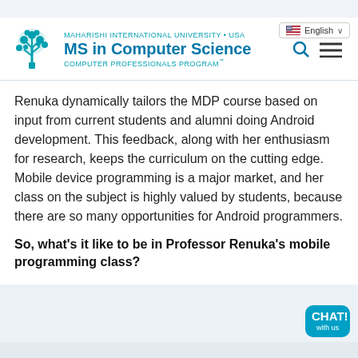MAHARISHI INTERNATIONAL UNIVERSITY • USA MS in Computer Science COMPUTER PROFESSIONALS PROGRAM℠
Renuka dynamically tailors the MDP course based on input from current students and alumni doing Android development. This feedback, along with her enthusiasm for research, keeps the curriculum on the cutting edge. Mobile device programming is a major market, and her class on the subject is highly valued by students, because there are so many opportunities for Android programmers.
So, what's it like to be in Professor Renuka's mobile programming class?